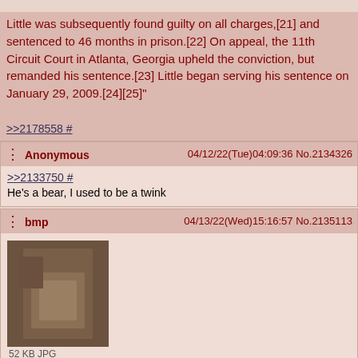Little was subsequently found guilty on all charges,[21] and sentenced to 46 months in prison.[22] On appeal, the 11th Circuit Court in Atlanta, Georgia upheld the conviction, but remanded his sentence.[23] Little began serving his sentence on January 29, 2009.[24][25]"
>>2178558 #
Anonymous 04/12/22(Tue)04:09:36 No.2134326
>>2133750 #
He's a bear, I used to be a twink
bmp 04/13/22(Wed)15:16:57 No.2135113
[Figure (photo): Thumbnail image, 52 KB JPG]
Anonymous 04/13/22(Wed)21:15:07 No.2135326
[Figure (photo): Thumbnail image, partially visible]